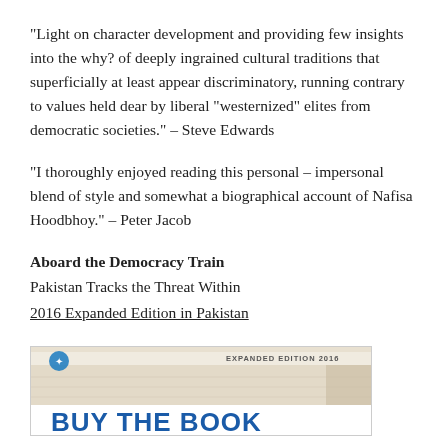“Light on character development and providing few insights into the why? of deeply ingrained cultural traditions that superficially at least appear discriminatory, running contrary to values held dear by liberal “westernized” elites from democratic societies.” – Steve Edwards
“I thoroughly enjoyed reading this personal – impersonal blend of style and somewhat a biographical account of Nafisa Hoodbhoy.” – Peter Jacob
Aboard the Democracy Train
Pakistan Tracks the Threat Within
2016 Expanded Edition in Pakistan
[Figure (photo): Book cover image showing 'Aboard the Democracy Train' Expanded Edition 2016, with text 'BUY THE BOOK' at the bottom and a logo at the top left.]